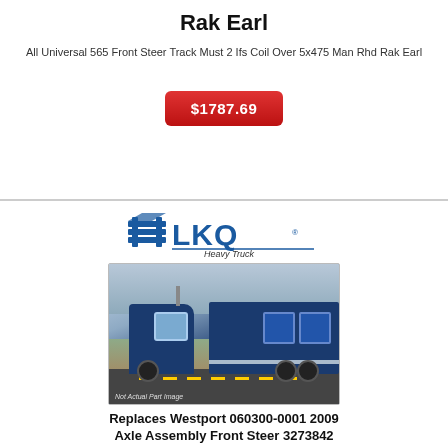Rak Earl
All Universal 565 Front Steer Track Must 2 Ifs Coil Over 5x475 Man Rhd Rak Earl
$1787.69
[Figure (logo): LKQ Heavy Truck logo with blue lettering and grid/rack icon]
[Figure (photo): Blue semi-truck cab driving on highway road, labeled Not Actual Part Image]
Replaces Westport 060300-0001 2009 Axle Assembly Front Steer 3273842